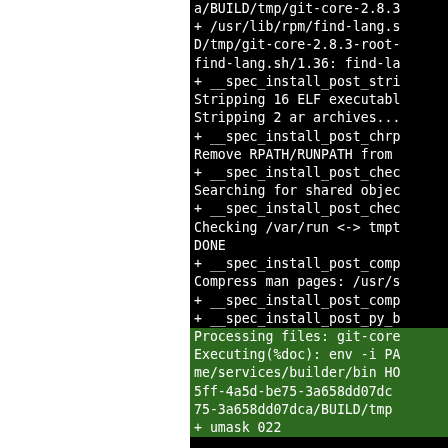[Figure (screenshot): Terminal/build log output showing RPM build process steps including find-lang, spec_install_post_strip, stripping ELF executables and ar archives, RPATH/RUNPATH removal, shared objects search, /var/run tmpfiles check, man page compression, and processing files with green-highlighted lines for 'Processing files' and 'Executing(%doc)' steps.]